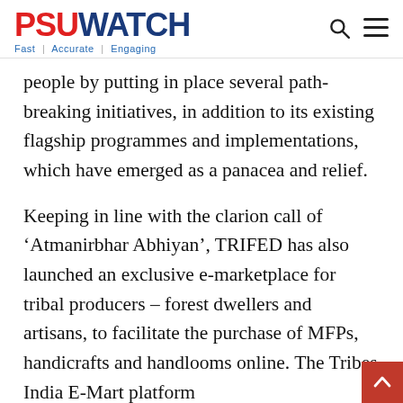PSUWATCH — Fast | Accurate | Engaging
people by putting in place several path-breaking initiatives, in addition to its existing flagship programmes and implementations, which have emerged as a panacea and relief.
Keeping in line with the clarion call of 'Atmanirbhar Abhiyan', TRIFED has also launched an exclusive e-marketplace for tribal producers – forest dwellers and artisans, to facilitate the purchase of MFPs, handicrafts and handlooms online. The Tribes India E-Mart platform (market.tribesindia.com) is an omnichannel facility for tribals to sell their goods to a large national and international audience in an e-marketplace through their own